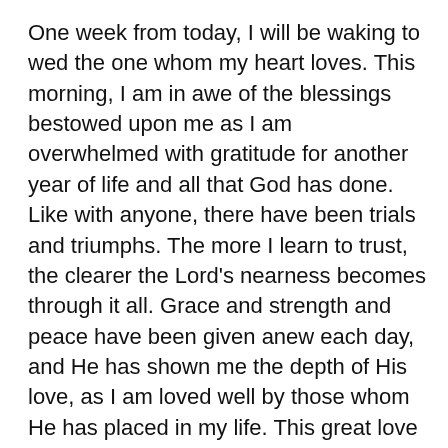One week from today, I will be waking to wed the one whom my heart loves. This morning, I am in awe of the blessings bestowed upon me as I am overwhelmed with gratitude for another year of life and all that God has done. Like with anyone, there have been trials and triumphs. The more I learn to trust, the clearer the Lord's nearness becomes through it all. Grace and strength and peace have been given anew each day, and He has shown me the depth of His love, as I am loved well by those whom He has placed in my life. This great love propels me to trust all the more, as He is faithful each time I turn to Him in faith. May we ever trust in the Lord above, as